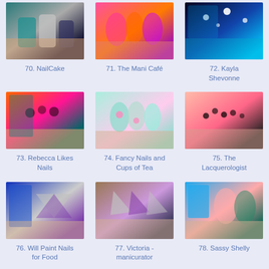[Figure (photo): Nail art photo – metallic teal and silver nails]
70. NailCake
[Figure (photo): Nail art photo – bright pink, orange, and purple nails]
71. The Mani Café
[Figure (photo): Nail art photo – dark blue glitter nails with stars]
72. Kayla Shevonne
[Figure (photo): Nail art photo – leopard print nails in orange, pink, teal]
73. Rebecca Likes Nails
[Figure (photo): Nail art photo – mint green nails with pink polka dots]
74. Fancy Nails and Cups of Tea
[Figure (photo): Nail art photo – coral pink nails with black polka dots]
75. The Lacquerologist
[Figure (photo): Nail art photo – geometric blue and silver nails]
76. Will Paint Nails for Food
[Figure (photo): Nail art photo – nude and purple geometric nails]
77. Victoria - manicurator
[Figure (photo): Nail art photo – turquoise, coral and teal nails]
78. Sassy Shelly